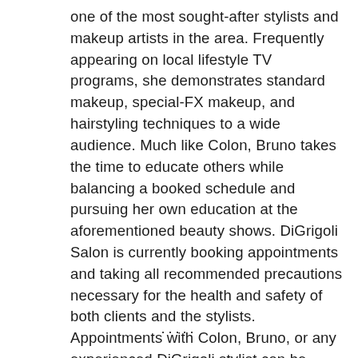one of the most sought-after stylists and makeup artists in the area. Frequently appearing on local lifestyle TV programs, she demonstrates standard makeup, special-FX makeup, and hairstyling techniques to a wide audience. Much like Colon, Bruno takes the time to educate others while balancing a booked schedule and pursuing her own education at the aforementioned beauty shows. DiGrigoli Salon is currently booking appointments and taking all recommended precautions necessary for the health and safety of both clients and the stylists. Appointments with Colon, Bruno, or any experienced DiGrigoli stylist can be made by calling (413) 827-8888 Tuesday through Saturday.
.....